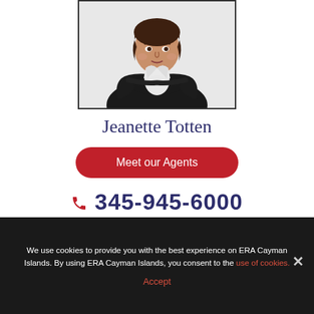[Figure (photo): Portrait photo of Jeanette Totten, a woman in a dark blazer with arms crossed, against a white background]
Jeanette Totten
Meet our Agents
345-945-6000
We use cookies to provide you with the best experience on ERA Cayman Islands. By using ERA Cayman Islands, you consent to the use of cookies.
Accept